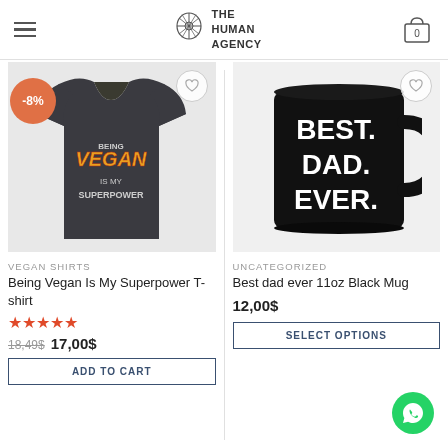The Human Agency — navigation header with hamburger menu and cart (0)
[Figure (photo): Dark charcoal t-shirt with 'BEING VEGAN IS MY SUPERPOWER' graphic text in orange/red/yellow, with -8% discount badge in orange circle]
VEGAN SHIRTS
Being Vegan Is My Superpower T-shirt
★★★★★
18,49$  17,00$
ADD TO CART
[Figure (photo): Black 11oz mug with 'BEST. DAD. EVER.' text in large white bold letters]
UNCATEGORIZED
Best dad ever 11oz Black Mug
12,00$
SELECT OPTIONS